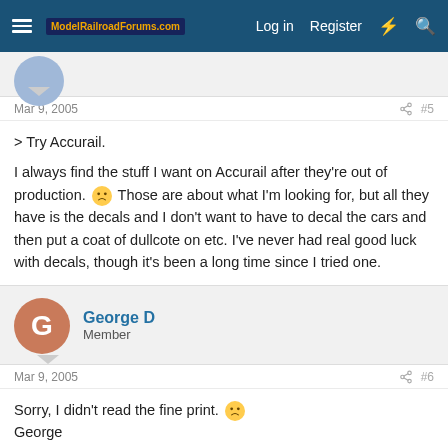ModelRailroadForums.com — Log in  Register
Mar 9, 2005  #5
> Try Accurail.

I always find the stuff I want on Accurail after they're out of production. 🙁 Those are about what I'm looking for, but all they have is the decals and I don't want to have to decal the cars and then put a coat of dullcote on etc. I've never had real good luck with decals, though it's been a long time since I tried one.
George D
Member
Mar 9, 2005  #6
Sorry, I didn't read the fine print. 🙁
George